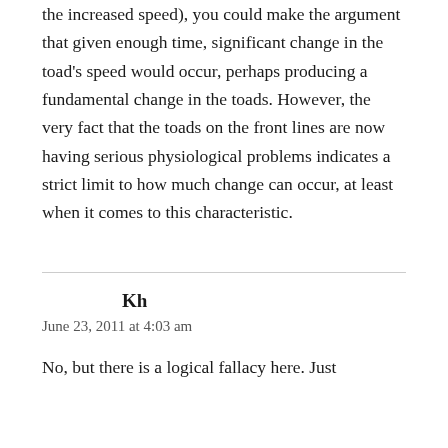the increased speed), you could make the argument that given enough time, significant change in the toad's speed would occur, perhaps producing a fundamental change in the toads. However, the very fact that the toads on the front lines are now having serious physiological problems indicates a strict limit to how much change can occur, at least when it comes to this characteristic.
Kh
June 23, 2011 at 4:03 am
No, but there is a logical fallacy here. Just